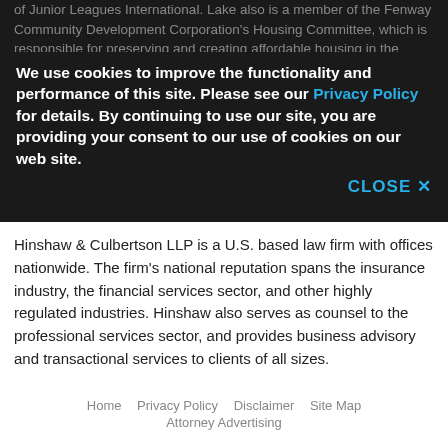of Junior Leagues International. Lake also is a member of the Fenway Community Development Corporation's Housing Committee, which is responsible for preserving and creating affordable housing in the Fenway neighborhood. She is an elected member of the Boston Ward 4 Democratic Committee and previously served as secretary of the Boston Ward 5 Democratic Committee.
We use cookies to improve the functionality and performance of this site. Please see our Privacy Policy for details. By continuing to use our site, you are providing your consent to our use of cookies on our web site.
CLOSE X
Hinshaw & Culbertson LLP is a U.S. based law firm with offices nationwide. The firm's national reputation spans the insurance industry, the financial services sector, and other highly regulated industries. Hinshaw also serves as counsel to the professional services sector, and provides business advisory and transactional services to clients of all sizes.
Home   Privacy Policy   Disclaimer   Site Map   Attorney Advertising